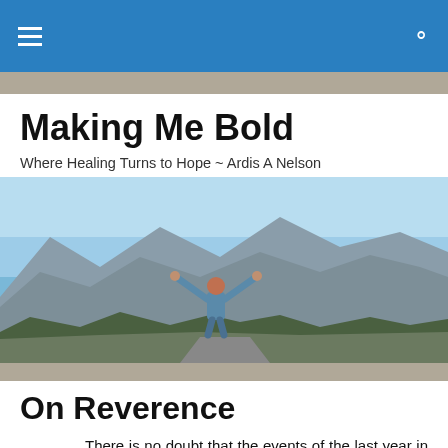Making Me Bold — navigation bar with hamburger menu and search icon
Making Me Bold
Where Healing Turns to Hope ~ Ardis A Nelson
[Figure (photo): Person with arms outstretched facing a mountain range under blue sky, viewed from behind, wearing a light blue jacket and orange beanie]
On Reverence
There is no doubt that the events of the last year in my life have drawn me closer to God.  I know this may sound strange, but when I returned from my mother's funeral, I was on such a spiritual high.  God had shown up for me each day I was